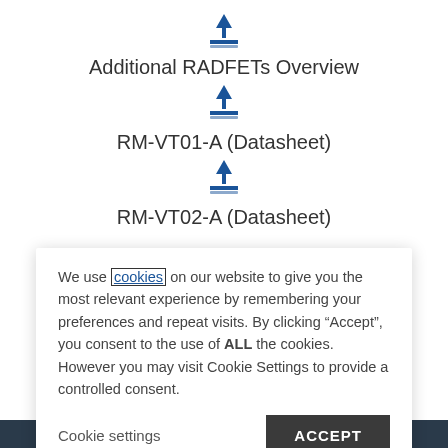[Figure (other): Download icon (blue arrow pointing down onto a surface)]
Additional RADFETs Overview
[Figure (other): Download icon (blue arrow pointing down onto a surface)]
RM-VT01-A (Datasheet)
[Figure (other): Download icon (blue arrow pointing down onto a surface)]
RM-VT02-A (Datasheet)
We use cookies on our website to give you the most relevant experience by remembering your preferences and repeat visits. By clicking “Accept”, you consent to the use of ALL the cookies. However you may visit Cookie Settings to provide a controlled consent.
Cookie settings
ACCEPT